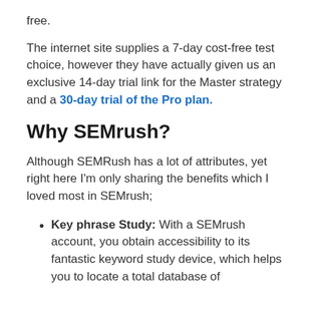free.
The internet site supplies a 7-day cost-free test choice, however they have actually given us an exclusive 14-day trial link for the Master strategy and a 30-day trial of the Pro plan.
Why SEMrush?
Although SEMRush has a lot of attributes, yet right here I’m only sharing the benefits which I loved most in SEMrush;
Key phrase Study: With a SEMrush account, you obtain accessibility to its fantastic keyword study device, which helps you to locate a total database of